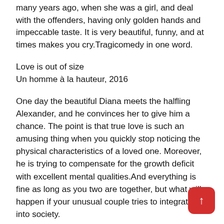many years ago, when she was a girl, and deal with the offenders, having only golden hands and impeccable taste. It is very beautiful, funny, and at times makes you cry.Tragicomedy in one word.
Love is out of size
Un homme à la hauteur, 2016
One day the beautiful Diana meets the halfling Alexander, and he convinces her to give him a chance. The point is that true love is such an amusing thing when you quickly stop noticing the physical characteristics of a loved one. Moreover, he is trying to compensate for the growth deficit with excellent mental qualities.And everything is fine as long as you two are together, but what will happen if your unusual couple tries to integrate into society.
Jackie
Jackie, 2016